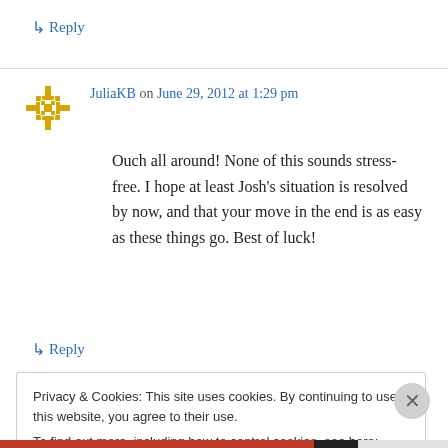↳ Reply
JuliaKB on June 29, 2012 at 1:29 pm
Ouch all around! None of this sounds stress-free. I hope at least Josh's situation is resolved by now, and that your move in the end is as easy as these things go. Best of luck!
↳ Reply
Privacy & Cookies: This site uses cookies. By continuing to use this website, you agree to their use.
To find out more, including how to control cookies, see here: Cookie Policy
Close and accept